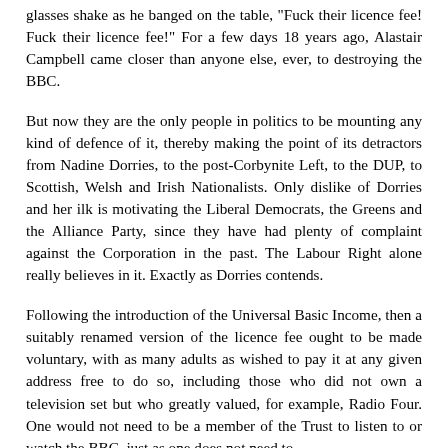glasses shake as he banged on the table, "Fuck their licence fee! Fuck their licence fee!" For a few days 18 years ago, Alastair Campbell came closer than anyone else, ever, to destroying the BBC.
But now they are the only people in politics to be mounting any kind of defence of it, thereby making the point of its detractors from Nadine Dorries, to the post-Corbynite Left, to the DUP, to Scottish, Welsh and Irish Nationalists. Only dislike of Dorries and her ilk is motivating the Liberal Democrats, the Greens and the Alliance Party, since they have had plenty of complaint against the Corporation in the past. The Labour Right alone really believes in it. Exactly as Dorries contends.
Following the introduction of the Universal Basic Income, then a suitably renamed version of the licence fee ought to be made voluntary, with as many adults as wished to pay it at any given address free to do so, including those who did not own a television set but who greatly valued, for example, Radio Four. One would not need to be a member of the Trust to listen to or watch the BBC, just as one does not need to be a member of the National Trust to visit its properties.